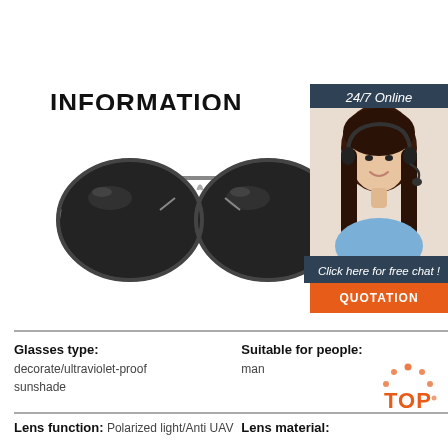INFORMATION
[Figure (photo): Aviator sunglasses with dark lenses and metal frame on white background]
[Figure (photo): Customer service sidebar: '24/7 Online' header, photo of smiling woman with headset, 'Click here for free chat!' text, and orange QUOTATION button]
[Figure (logo): Orange TOP logo with decorative dots]
Glasses type: decorate/ultraviolet-proof sunshade
Suitable for people: man
Lens function: Polarized light/Anti UAV
Lens material: